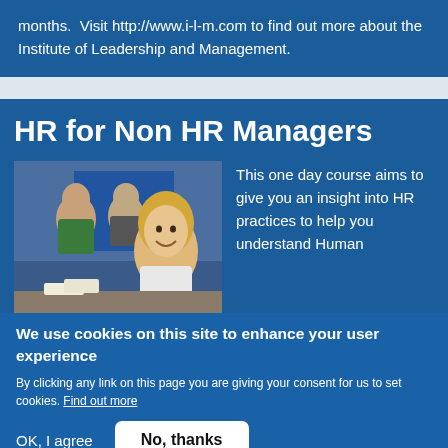months.  Visit http://www.i-l-m.com to find out more about the Institute of Leadership and Management.
HR for Non HR Managers
[Figure (photo): Three people in a classroom or meeting setting, one woman with blonde hair smiling in the foreground, two others behind her.]
This one day course aims to give you an insight into HR practices to help you understand Human
We use cookies on this site to enhance your user experience
By clicking any link on this page you are giving your consent for us to set cookies. Find out more
OK, I agree
No, thanks